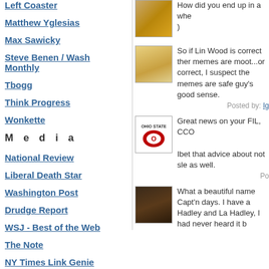Left Coaster
Matthew Yglesias
Max Sawicky
Steve Benen / Wash Monthly
Tbogg
Think Progress
Wonkette
M e d i a
National Review
Liberal Death Star
Washington Post
Drudge Report
WSJ - Best of the Web
The Note
NY Times Link Genie
NY Times Perma-Links
My Way
How did you end up in a whe )
So if Lin Wood is correct ther memes are moot...or correct, I suspect the memes are safe guy's good sense.
Posted by: Ig
Great news on your FIL, CCO Ibet that advice about not sle as well.
Po
What a beautiful name Capt'n days. I have a Hadley and La Hadley, I had never heard it b